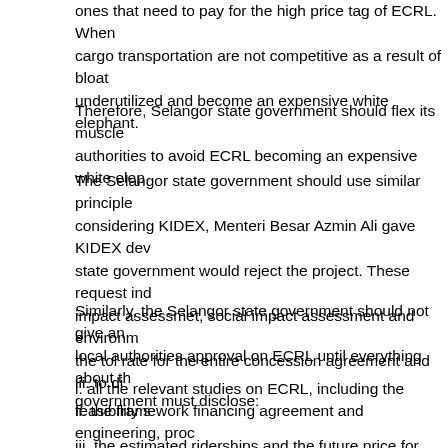ones that need to pay for the high price tag of ECRL. When cargo transportation are not competitive as a result of bloated underutilized and become an expensive white elephant.
Therefore, Selangor state government should flex its muscle authorities to avoid ECRL becoming an expensive white elephant.
The Selangor state government should use similar principles considering KIDEX, Menteri Besar Azmin Ali gave KIDEX dev state government would reject the project. These request inc impact assessmet, social impact assessment and environment the tol rate for the entire concession agreement and iii. to di
Similarly, the Selangor state government should not give an local authorities approval on ECRL until everything about the government must disclose:
i. all the relevant studies on ECRL, including the feasibility s
ii. the framework financing agreement and engineering, proc commissioning contract signed in Beijing on 1 Nov 2017; an
iii. the estimated riderships and the future price for passeng transportation to make the project this mission